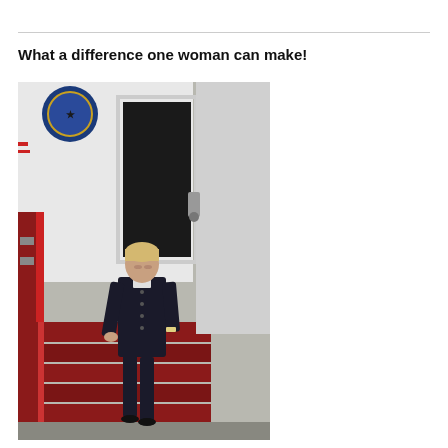What a difference one woman can make!
[Figure (photo): A woman in a dark business suit descending the stairs of a government aircraft (with a Secretary of State seal visible), holding a railing on red-carpeted stairs.]